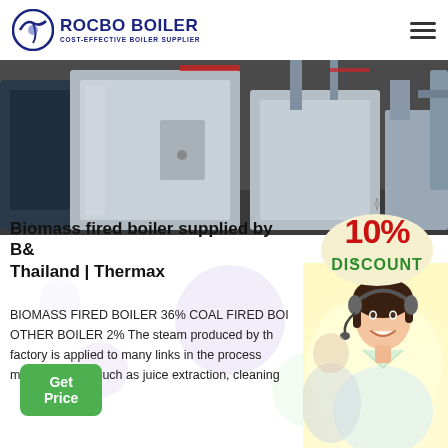[Figure (logo): Rocbo Boiler logo with circular blue icon and company name]
[Figure (photo): Industrial stainless steel boilers in a manufacturing facility]
[Figure (infographic): 10% Discount badge in red and yellow]
Biomass fired boiler supplied by B& Thailand | Thermax
BIOMASS FIRED BOILER 36% COAL FIRED BOI OTHER BOILER 2% The steam produced by th factory is applied to many links in the process manufacturing, such as juice extraction, cleaning
[Figure (photo): Customer service agent with headset smiling]
Get Price